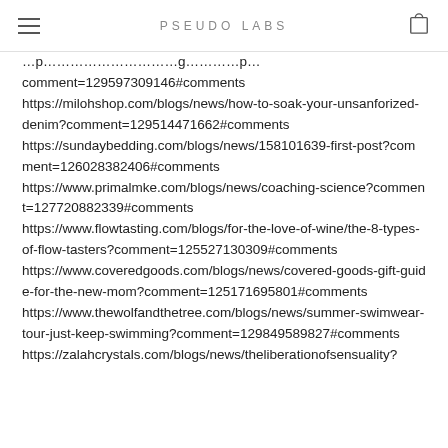PSEUDO LABS
comment=129597309146#comments
https://milohshop.com/blogs/news/how-to-soak-your-unsanforized-denim?comment=129514471662#comments
https://sundaybedding.com/blogs/news/158101639-first-post?comment=126028382406#comments
https://www.primalmke.com/blogs/news/coaching-science?comment=127720882339#comments
https://www.flowtasting.com/blogs/for-the-love-of-wine/the-8-types-of-flow-tasters?comment=125527130309#comments
https://www.coveredgoods.com/blogs/news/covered-goods-gift-guide-for-the-new-mom?comment=125171695801#comments
https://www.thewolfandthetree.com/blogs/news/summer-swimwear-tour-just-keep-swimming?comment=129849589827#comments
https://zalahcrystals.com/blogs/news/theliberationofsensuality?